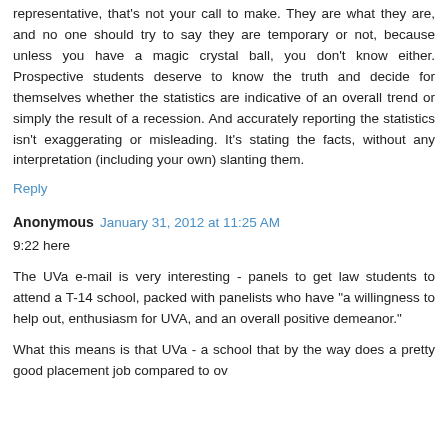representative, that's not your call to make. They are what they are, and no one should try to say they are temporary or not, because unless you have a magic crystal ball, you don't know either. Prospective students deserve to know the truth and decide for themselves whether the statistics are indicative of an overall trend or simply the result of a recession. And accurately reporting the statistics isn't exaggerating or misleading. It's stating the facts, without any interpretation (including your own) slanting them.
Reply
Anonymous  January 31, 2012 at 11:25 AM
9:22 here
The UVa e-mail is very interesting - panels to get law students to attend a T-14 school, packed with panelists who have "a willingness to help out, enthusiasm for UVA, and an overall positive demeanor."
What this means is that UVa - a school that by the way does a pretty good placement job compared to ov...